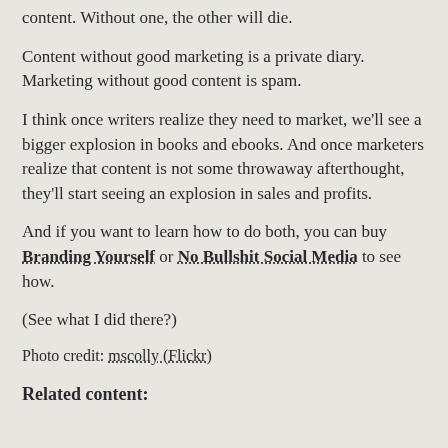content. Without one, the other will die.
Content without good marketing is a private diary. Marketing without good content is spam.
I think once writers realize they need to market, we'll see a bigger explosion in books and ebooks. And once marketers realize that content is not some throwaway afterthought, they'll start seeing an explosion in sales and profits.
And if you want to learn how to do both, you can buy Branding Yourself or No Bullshit Social Media to see how.
(See what I did there?)
Photo credit: mscolly (Flickr)
Related content: